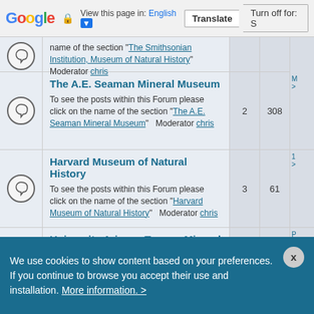Google Translate bar — View this page in: English | Translate | Turn off for: S
|  | Forum | Posts | Views | Last |
| --- | --- | --- | --- | --- |
| [icon] | The A.E. Seaman Mineral Museum — To see the posts within this Forum please click on the name of the section "The A.E. Seaman Mineral Museum" Moderator chris | 2 | 308 | M... |
| [icon] | Harvard Museum of Natural History — To see the posts within this Forum please click on the name of the section "Harvard Museum of Natural History" Moderator chris | 3 | 61 | 1... |
| [icon] | University Arizona Tucson Mineral Museum — To see the posts within this Forum please click on the name of the section "University Arizona Tucson Mineral Museum" Moderator chris | 4 | 26 | P... |
| [icon] | Colorado School of Mines Geology Museum (partial) |  |  |  |
We use cookies to show content based on your preferences. If you continue to browse you accept their use and installation. More information. >